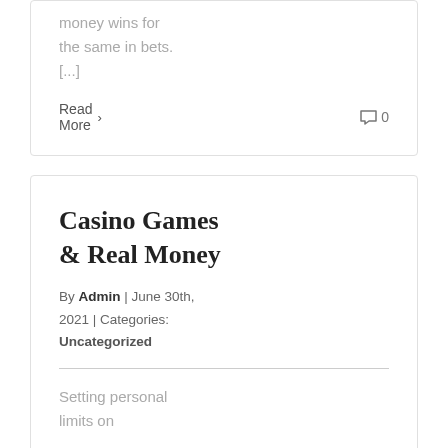money wins for the same in bets. [...]
Read More  0
Casino Games & Real Money
By Admin | June 30th, 2021 | Categories: Uncategorized
Setting personal limits on